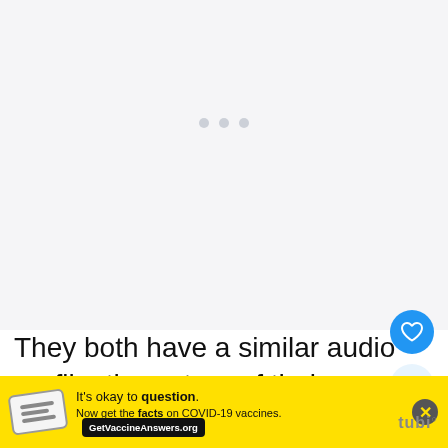[Figure (screenshot): Large light gray/white content area at top of page, likely a video or media player area that has not loaded, with three small gray dots in the center indicating a loading state.]
They both have a similar audio profile, the nature of their design means the,
[Figure (infographic): Yellow advertisement banner at the bottom. Contains a stamped icon on the left, text reading "It's okay to question. Now get the facts on COVID-19 vaccines. GetVaccineAnswers.org", a close (X) button, and a Tubi logo on the right side. The banner background is yellow (#FFE000).]